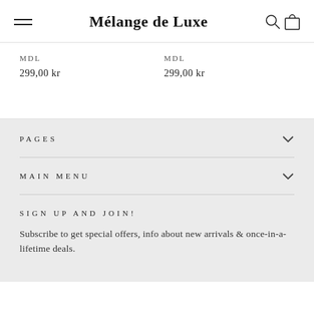Mélange de Luxe
MDL
299,00 kr
MDL
299,00 kr
PAGES
MAIN MENU
SIGN UP AND JOIN!
Subscribe to get special offers, info about new arrivals & once-in-a-lifetime deals.